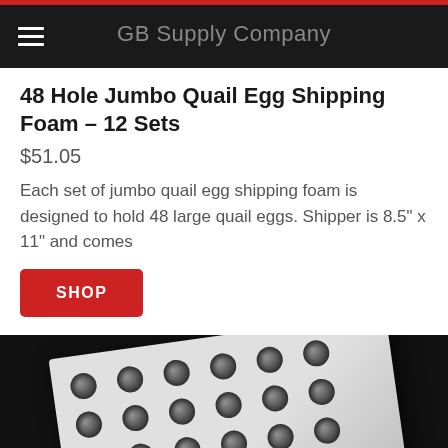GB Supply Company
48 Hole Jumbo Quail Egg Shipping Foam – 12 Sets
$51.05
Each set of jumbo quail egg shipping foam is designed to hold 48 large quail eggs. Shipper is 8.5" x 11" and comes
[Figure (photo): White foam egg shipping pad with 48 circular holes arranged in a grid, photographed at an angle on a dark background]